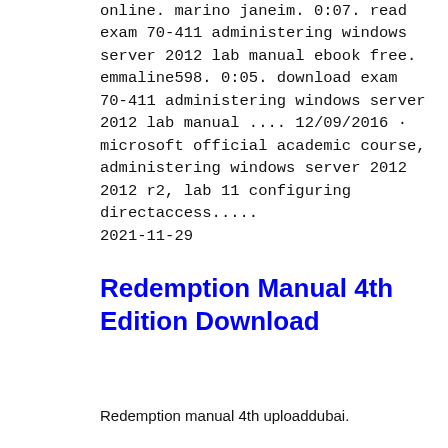online. marino janeim. 0:07. read exam 70-411 administering windows server 2012 lab manual ebook free. emmaline598. 0:05. download exam 70-411 administering windows server 2012 lab manual .... 12/09/2016 · microsoft official academic course, administering windows server 2012 2012 r2, lab 11 configuring directaccess..... 2021-11-29
Redemption Manual 4th Edition Download
Redemption manual 4th uploaddubai. To see more images in the table...